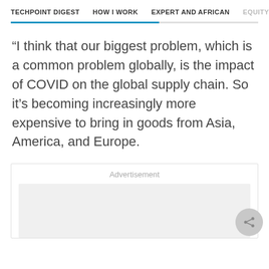TECHPOINT DIGEST   HOW I WORK   EXPERT AND AFRICAN   EQUITY
“I think that our biggest problem, which is a common problem globally, is the impact of COVID on the global supply chain. So it’s becoming increasingly more expensive to bring in goods from Asia, America, and Europe.
Advertisement